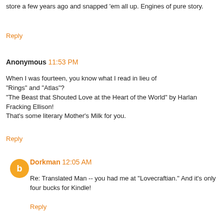store a few years ago and snapped 'em all up. Engines of pure story.
Reply
Anonymous 11:53 PM
When I was fourteen, you know what I read in lieu of "Rings" and "Atlas"?
"The Beast that Shouted Love at the Heart of the World" by Harlan Fracking Ellison!
That's some literary Mother's Milk for you.
Reply
Dorkman 12:05 AM
Re: Translated Man -- you had me at "Lovecraftian." And it's only four bucks for Kindle!
Reply